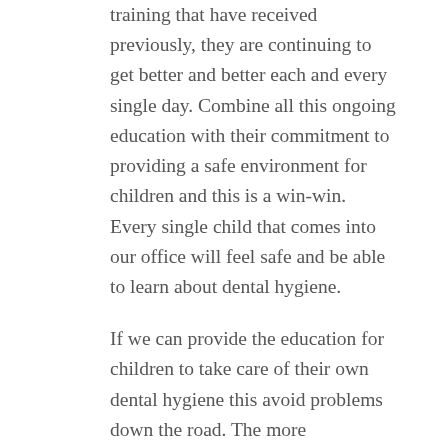training that have received previously, they are continuing to get better and better each and every single day. Combine all this ongoing education with their commitment to providing a safe environment for children and this is a win-win. Every single child that comes into our office will feel safe and be able to learn about dental hygiene.
If we can provide the education for children to take care of their own dental hygiene this avoid problems down the road. The more empowered they are to take care of their own dental hygiene, the less likely they are to have any number of issues crop up later that is costly and time-consuming. Among the issues l can crop up without proper dental hygiene include gum disease and gingivitis. We look forward to eliminating those needs in a proactive Way by offering those Educational Tools to them as part of